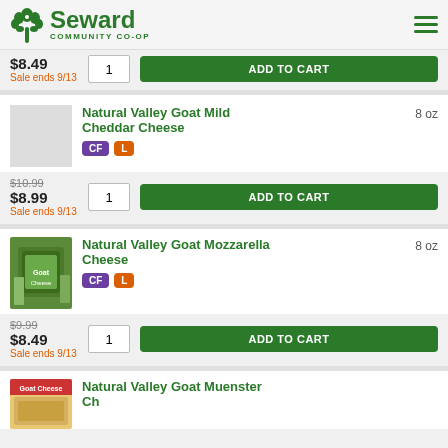Seward Community Co-op
$8.49 | Sale ends 9/13 | ADD TO CART
Natural Valley Goat Mild Cheddar Cheese | 8 oz | CF | L
$10.99 (strikethrough), $8.99 | Sale ends 9/13 | ADD TO CART
[Figure (photo): Natural Valley Goat Mozzarella Cheese product photo]
Natural Valley Goat Mozzarella Cheese | 8 oz | CF | L
$9.99 (strikethrough), $8.49 | Sale ends 9/13 | ADD TO CART
[Figure (photo): Natural Valley Goat Muenster Cheese product photo]
Natural Valley Goat Muenster Cheese